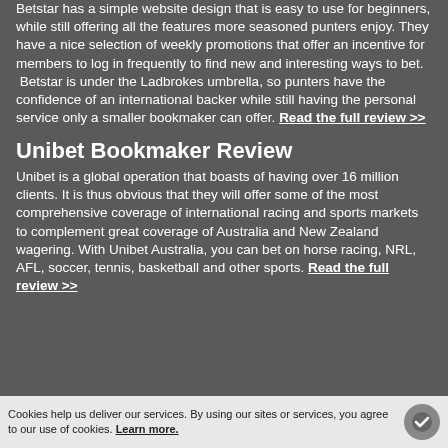Betstar has a simple website design that is easy to use for beginners, while still offering all the features more seasoned punters enjoy. They have a nice selection of weekly promotions that offer an incentive for members to log in frequently to find new and interesting ways to bet. Betstar is under the Ladbrokes umbrella, so punters have the confidence of an international backer while still having the personal service only a smaller bookmaker can offer. Read the full review >>
Unibet Bookmaker Review
Unibet is a global operation that boasts of having over 16 million clients. It is thus obvious that they will offer some of the most comprehensive coverage of international racing and sports markets to complement great coverage of Australia and New Zealand wagering. With Unibet Australia, you can bet on horse racing, NRL, AFL, soccer, tennis, basketball and other sports. Read the full review >>
Cookies help us deliver our services. By using our sites or services, you agree to our use of cookies. Learn more.